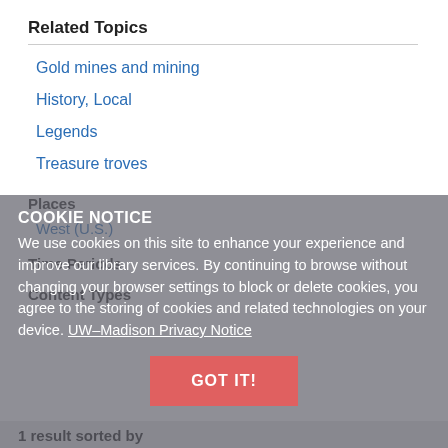Related Topics
Gold mines and mining
History, Local
Legends
Treasure troves
Places
West (U.S.)
Time Periods
Content Types
COOKIE NOTICE
We use cookies on this site to enhance your experience and improve our library services. By continuing to browse without changing your browser settings to block or delete cookies, you agree to the storing of cookies and related technologies on your device. UW–Madison Privacy Notice
GOT IT!
1 result sorted by